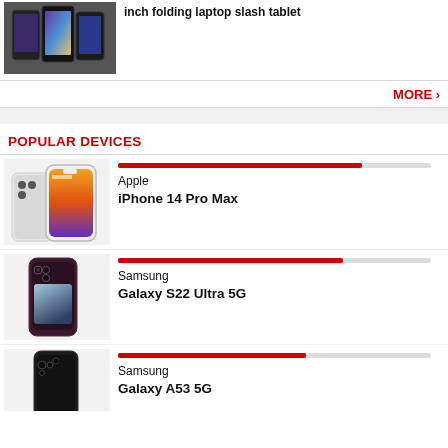[Figure (photo): Samsung folding devices photo showing multiple folding phones/tablets arranged on a surface]
inch folding laptop slash tablet
MORE ›
POPULAR DEVICES
[Figure (photo): Apple iPhone 14 Pro Max product photo showing front and back of white/silver iPhone]
Apple iPhone 14 Pro Max
[Figure (photo): Samsung Galaxy S22 Ultra 5G product photo showing dark burgundy/black phone]
Samsung Galaxy S22 Ultra 5G
[Figure (photo): Samsung Galaxy A53 5G product photo showing black phone]
Samsung Galaxy A53 5G